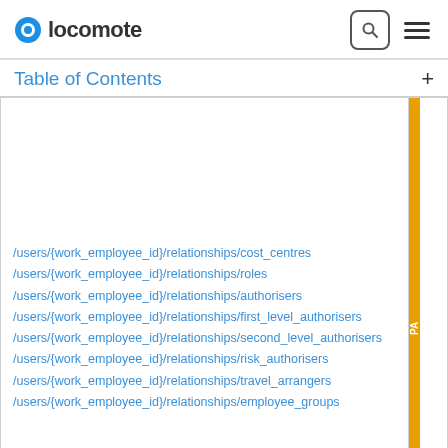locomote
Table of Contents
| Path | Method |
| --- | --- |
| /users/{work_employee_id}/relationships/cost_centres | PA |
| /users/{work_employee_id}/relationships/roles |  |
| /users/{work_employee_id}/relationships/authorisers |  |
| /users/{work_employee_id}/relationships/first_level_authorisers |  |
| /users/{work_employee_id}/relationships/second_level_authorisers |  |
| /users/{work_employee_id}/relationships/risk_authorisers |  |
| /users/{work_employee_id}/relationships/travel_arrangers |  |
| /users/{work_employee_id}/relationships/employee_groups |  |
| /cost_centres | G |
| /cost_centres/{code} | G |
| /cost_centres/{code}/relationships/departments | PA |